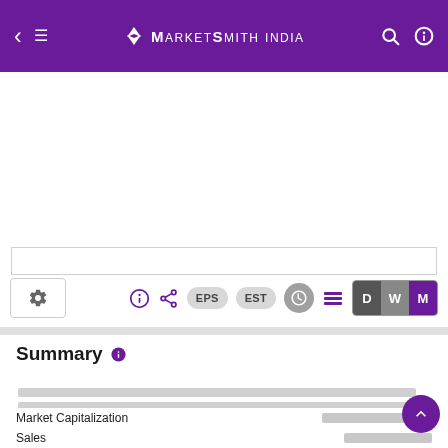MarketSmith India
[Figure (screenshot): Chart area with toolbar including gear icon, info icon, share icon, EPS pill, EST pill, circle icon, lines icon, and D/W/M toggle buttons]
Summary
Reports
Market Capitalization
Sales